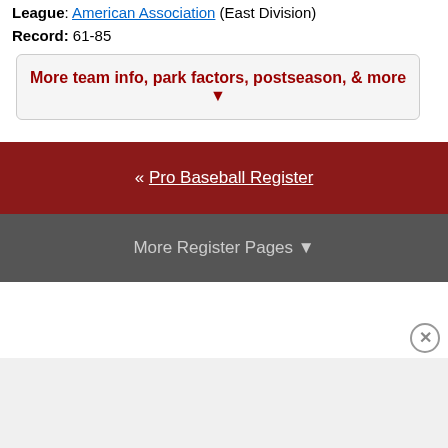League: American Association (East Division)
Record: 61-85
More team info, park factors, postseason, & more ▼
« Pro Baseball Register
More Register Pages ▼